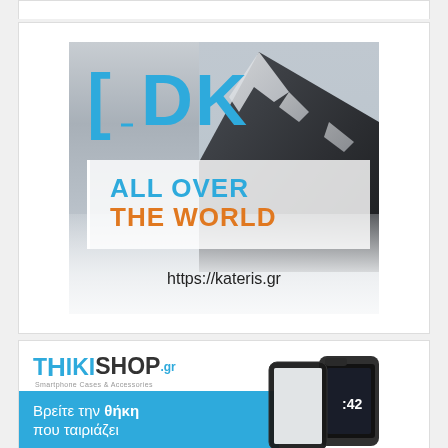[Figure (advertisement): IDK brand advertisement with mountain background. Large blue text reads IDK with brackets around the I. White semi-transparent box with blue text ALL OVER and orange text THE WORLD. URL https://kateris.gr at bottom.]
[Figure (advertisement): ThikiShop.gr advertisement. Logo shows THIKISHOP.gr with tagline Smartphone Cases & Accessories. Blue banner with Greek text Βρείτε την θήκη που ταιριάζει. Phone cases visible on right side.]